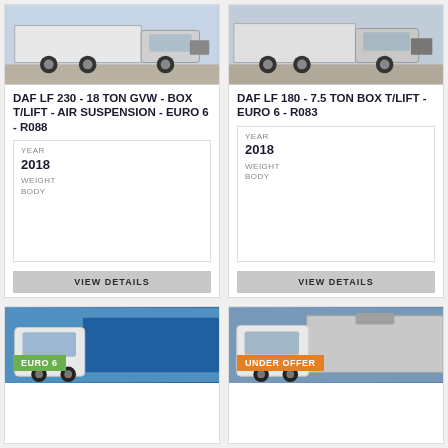[Figure (photo): DAF truck front/side view on yard, grey/white vehicle]
DAF LF 230 - 18 TON GVW - BOX T/LIFT - AIR SUSPENSION - EURO 6 - R088
YEAR
2018
WEIGHT
BODY
VIEW DETAILS
[Figure (photo): DAF truck front view, white cab, yard setting]
DAF LF 180 - 7.5 TON BOX T/LIFT - EURO 6 - R083
YEAR
2018
WEIGHT
BODY
VIEW DETAILS
[Figure (photo): DAF truck with blue curtain-side trailer, EURO 6 badge]
[Figure (photo): Refrigerated truck, white cab, UNDER OFFER badge]